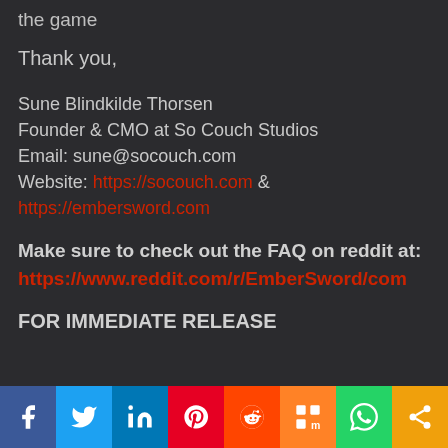the game
Thank you,
Sune Blindkilde Thorsen
Founder & CMO at So Couch Studios
Email: sune@socouch.com
Website: https://socouch.com & https://embersword.com
Make sure to check out the FAQ on reddit at: https://www.reddit.com/r/EmberSword/com
FOR IMMEDIATE RELEASE
[Figure (infographic): Social media sharing bar with icons for Facebook, Twitter, LinkedIn, Pinterest, Reddit, Mix, WhatsApp, and Share]